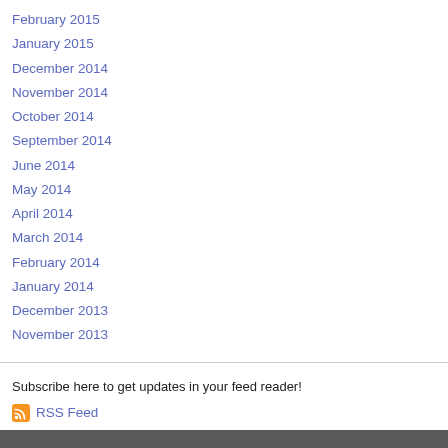February 2015
January 2015
December 2014
November 2014
October 2014
September 2014
June 2014
May 2014
April 2014
March 2014
February 2014
January 2014
December 2013
November 2013
Subscribe here to get updates in your feed reader!
RSS Feed